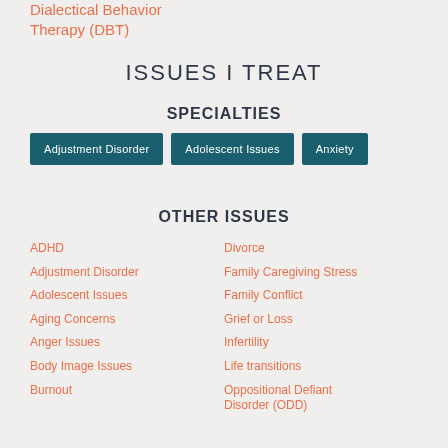Dialectical Behavior Therapy (DBT)
ISSUES I TREAT
SPECIALTIES
Adjustment Disorder
Adolescent Issues
Anxiety
OTHER ISSUES
ADHD
Adjustment Disorder
Adolescent Issues
Aging Concerns
Anger Issues
Body Image Issues
Burnout
Divorce
Family Caregiving Stress
Family Conflict
Grief or Loss
Infertility
Life transitions
Oppositional Defiant Disorder (ODD)